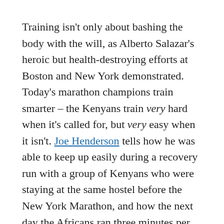Training isn't only about bashing the body with the will, as Alberto Salazar's heroic but health-destroying efforts at Boston and New York demonstrated. Today's marathon champions train smarter – the Kenyans train very hard when it's called for, but very easy when it isn't. Joe Henderson tells how he was able to keep up easily during a recovery run with a group of Kenyans who were staying at the same hostel before the New York Marathon, and how the next day the Africans ran three minutes per mile faster.
The greatest improvements come by using energy efficiently. As Timothy Noakes, MD